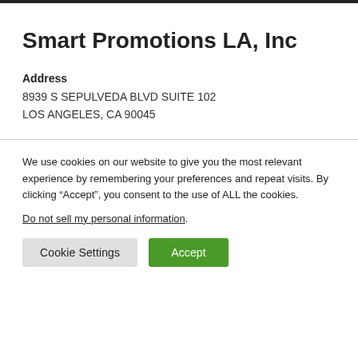Smart Promotions LA, Inc
Address
8939 S SEPULVEDA BLVD SUITE 102
LOS ANGELES, CA 90045
We use cookies on our website to give you the most relevant experience by remembering your preferences and repeat visits. By clicking “Accept”, you consent to the use of ALL the cookies.
Do not sell my personal information.
Cookie Settings | Accept